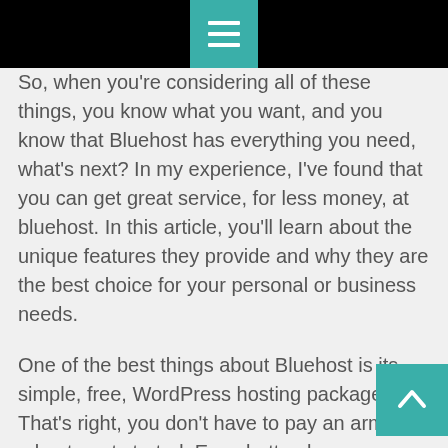[Menu icon]
So, when you're considering all of these things, you know what you want, and you know that Bluehost has everything you need, what's next? In my experience, I've found that you can get great service, for less money, at bluehost. In this article, you'll learn about the unique features they provide and why they are the best choice for your personal or business needs.
One of the best things about Bluehost is its simple, free, WordPress hosting package. That's right, you don't have to pay an arm and a leg to get started. Even better, because there are no monthly fees, you can start out with zero bills. So if you're looking to run an eCommerce website or a blog without spending any money, you will be happy to know that bluehost offers a free plan with their automatic updates, domain names, and cPanel.